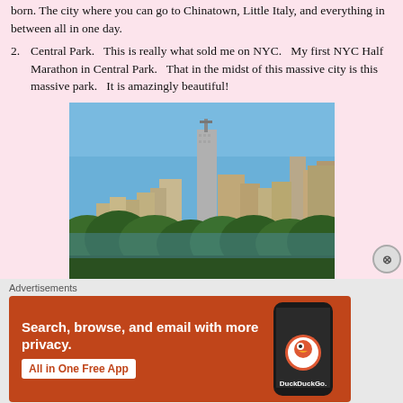born. The city where you can go to Chinatown, Little Italy, and everything in between all in one day.
2. Central Park. This is really what sold me on NYC. My first NYC Half Marathon in Central Park. That in the midst of this massive city is this massive park. It is amazingly beautiful!
[Figure (photo): Photo of New York City skyline viewed from Central Park, showing skyscrapers including a tall building under construction against a blue sky, with trees in the foreground.]
Advertisements
[Figure (infographic): DuckDuckGo advertisement banner with orange background. Text reads: Search, browse, and email with more privacy. All in One Free App. Shows a phone with the DuckDuckGo logo.]